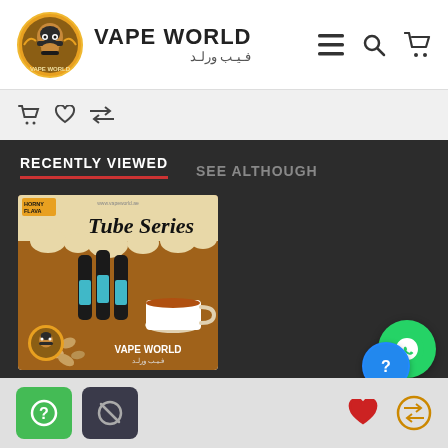VAPE WORLD / فيب ورلد
[Figure (screenshot): Vape World website screenshot showing recently viewed tab with a Horny Flava Tube Series e-liquid product card on dark background]
RECENTLY VIEWED
SEE ALTHOUGH
[Figure (photo): Horny Flava Tube Series e-liquid product image on brown background with coffee cup and nuts, VAPE WORLD branding]
Action buttons: help, disable, wishlist, compare